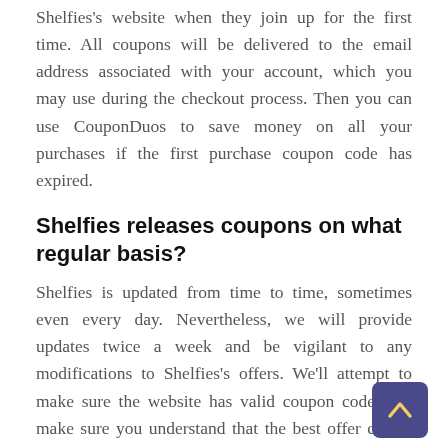Shelfies's website when they join up for the first time. All coupons will be delivered to the email address associated with your account, which you may use during the checkout process. Then you can use CouponDuos to save money on all your purchases if the first purchase coupon code has expired.
Shelfies releases coupons on what regular basis?
Shelfies is updated from time to time, sometimes even every day. Nevertheless, we will provide updates twice a week and be vigilant to any modifications to Shelfies's offers. We'll attempt to make sure the website has valid coupon codes. To make sure you understand that the best offer comes first, we will monitor the situation. The items in your shopping cart can be checked to see if they meet the requirements of each promo code by browsing through all of them. It will be excellent to use the coupon that offers the greatest savings.